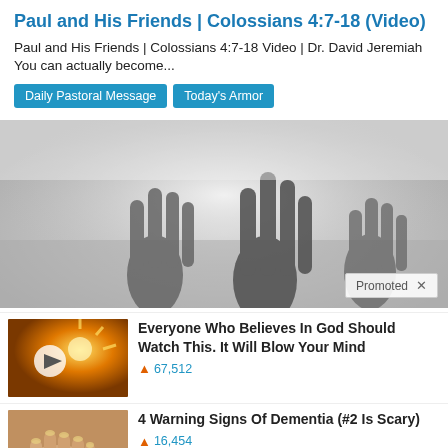Paul and His Friends | Colossians 4:7-18 (Video)
Paul and His Friends | Colossians 4:7-18 Video | Dr. David Jeremiah You can actually become...
Daily Pastoral Message
Today's Armor
[Figure (photo): Grayscale image of people raising hands in worship, with a 'Promoted X' badge in the bottom right corner]
Everyone Who Believes In God Should Watch This. It Will Blow Your Mind
🔥 67,512
4 Warning Signs Of Dementia (#2 Is Scary)
🔥 16,454